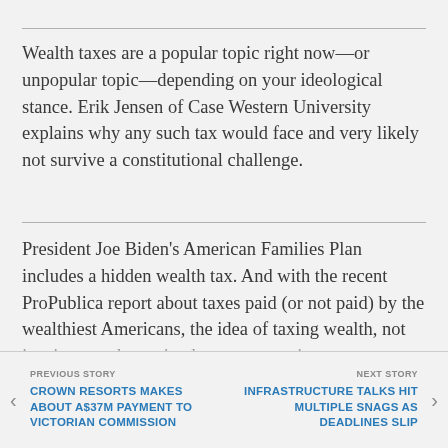Wealth taxes are a popular topic right now—or unpopular topic—depending on your ideological stance. Erik Jensen of Case Western University explains why any such tax would face and very likely not survive a constitutional challenge.
President Joe Biden's American Families Plan includes a hidden wealth tax. And with the recent ProPublica report about taxes paid (or not paid) by the wealthiest Americans, the idea of taxing wealth, not just income, has gained greater attention among policymakers and the media. Proponents ultimately will nevertheless be faced to confront the fact that ordinary tax, a wealth...
PREVIOUS STORY
CROWN RESORTS MAKES ABOUT A$37M PAYMENT TO VICTORIAN COMMISSION

NEXT STORY
INFRASTRUCTURE TALKS HIT MULTIPLE SNAGS AS DEADLINES SLIP